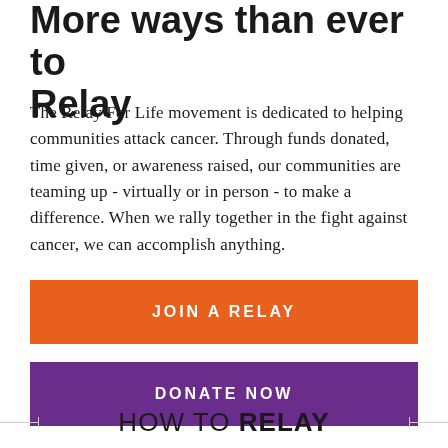More ways than ever to Relay
The Relay For Life movement is dedicated to helping communities attack cancer. Through funds donated, time given, or awareness raised, our communities are teaming up - virtually or in person - to make a difference. When we rally together in the fight against cancer, we can accomplish anything.
[Figure (other): Orange button with text JOIN A RELAY]
[Figure (other): Purple button with text DONATE NOW]
HOW TO RELAY